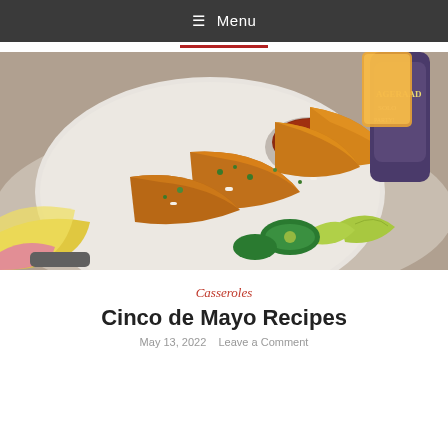≡ Menu
[Figure (photo): A white plate with birria-style tacos topped with fresh cilantro and diced onion, accompanied by a small bowl of red dipping sauce, sliced jalapeños, lime wedges, and a yellow cloth napkin. In the background there is a bottle labeled AGERAAD SOLO PARTY and a glass of orange juice.]
Casseroles
Cinco de Mayo Recipes
May 13, 2022   Leave a Comment